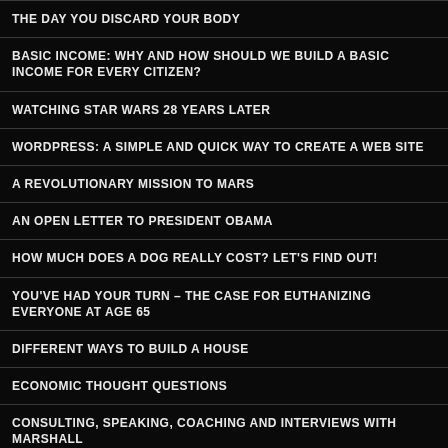THE DAY YOU DISCARD YOUR BODY
BASIC INCOME: WHY AND HOW SHOULD WE BUILD A BASIC INCOME FOR EVERY CITIZEN?
WATCHING STAR WARS 28 YEARS LATER
WORDPRESS: A SIMPLE AND QUICK WAY TO CREATE A WEB SITE
A REVOLUTIONARY MISSION TO MARS
AN OPEN LETTER TO PRESIDENT OBAMA
HOW MUCH DOES A DOG REALLY COST? LET'S FIND OUT!
YOU'VE HAD YOUR TURN – THE CASE FOR EUTHANIZING EVERYONE AT AGE 65
DIFFERENT WAYS TO BUILD A HOUSE
ECONOMIC THOUGHT QUESTIONS
CONSULTING, SPEAKING, COACHING AND INTERVIEWS WITH MARSHALL